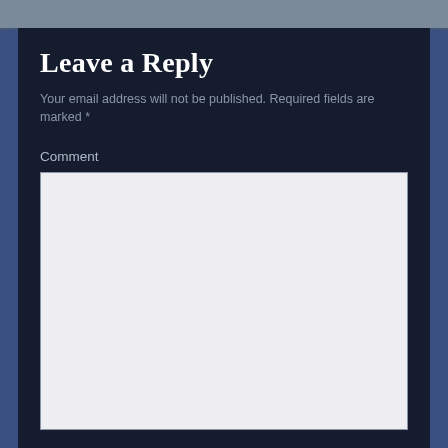Leave a Reply
Your email address will not be published. Required fields are marked *
Comment
[Figure (screenshot): Empty comment textarea input field with light gray background]
Name *